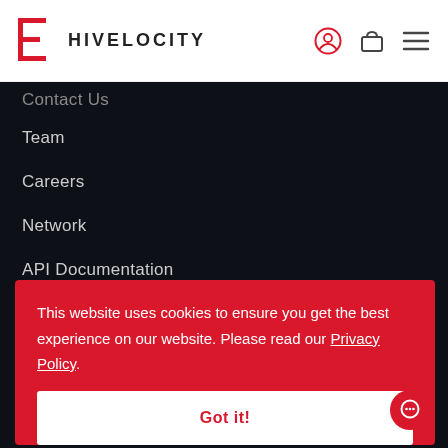[Figure (logo): Hivelocity logo with red bracket icon and bold text HIVELOCITY]
[Figure (infographic): Header icons: user account circle, shopping bag, hamburger menu]
Contact Us
Team
Careers
Network
API Documentation
Partner Program
Case Studies
Knowledge Base
This website uses cookies to ensure you get the best experience on our website. Please read our Privacy Policy.
Got it!
ustpilot
[Figure (logo): MasterCard logo badge]
[Figure (logo): PayPal badge]
[Figure (logo): Crypto badge]